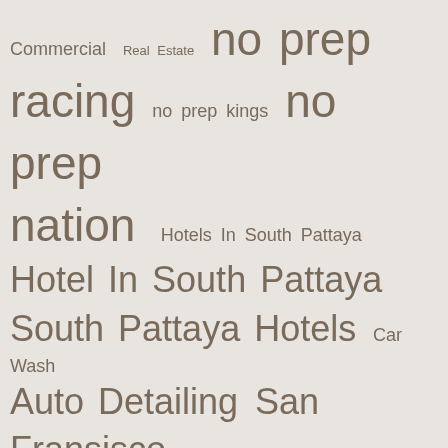[Figure (infographic): Tag cloud / word cloud with various search terms and keywords in different font sizes, displayed on a light beige/gray background. Terms include: Commercial, Real Estate, no prep racing, no prep kings, no prep nation, Hotels In South Pattaya, Hotel In South Pattaya, South Pattaya Hotels, Car Wash, Auto Detailing, San Fransisco, Car Detailing, mobile legends diamonds, mobile legends cheats, mobile legends free diamonds, technology for elderly care, family home caregiver app, remote health monitoring for families, Exposing Bohemia's Fraud Act, Bohemia - A Fraud Rapper, Case Filed Against Bohemia Fraud Rapper, run 4, run 4 game, run 4]